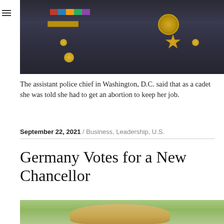[Figure (photo): Photo of assistant police chief in Washington D.C. wearing dark uniform with medals, badge, and gold buttons]
The assistant police chief in Washington, D.C. said that as a cadet she was told she had to get an abortion to keep her job.
September 22, 2021 / Business, Leadership, U.S.
Germany Votes for a New Chancellor
[Figure (photo): Partial photo showing the top of a person's head with blonde hair against a blurred green background]